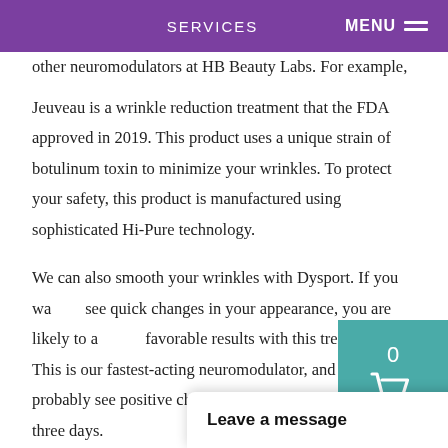SERVICES | MENU
other neuromodulators at HB Beauty Labs. For example, Jeuveau is a wrinkle reduction treatment that the FDA approved in 2019. This product uses a unique strain of botulinum toxin to minimize your wrinkles. To protect your safety, this product is manufactured using sophisticated Hi-Pure technology.
We can also smooth your wrinkles with Dysport. If you want to see quick changes in your appearance, you are likely to achieve favorable results with this treatment. This is our fastest-acting neuromodulator, and you will probably see positive changes in your face within one to three days.
FILLERS
Fillers are injectable products that can fill in wrinkles and add volume to specific areas of your face.